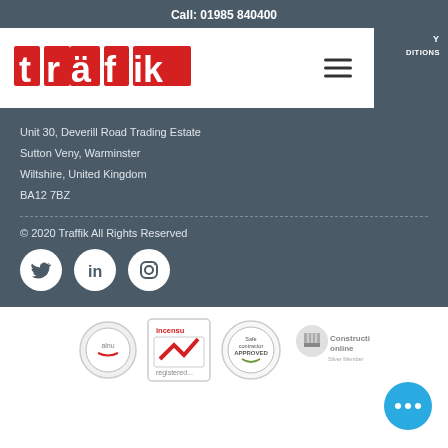Call: 01985 840400
[Figure (logo): Traffik company logo in red with umlauts over the a]
Unit 30, Deverill Road Trading Estate
Sutton Veny, Warminster
Wiltshire, United Kingdom
BA12 7BZ
© 2020 Traffik All Rights Reserved
[Figure (illustration): Social media icons: Twitter, LinkedIn, Instagram]
[Figure (logo): Certification logos: Altru, Incensu registered, Safecontractor Approved, Constructionline Silver Member]